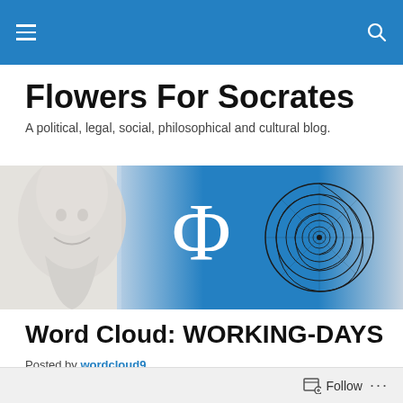Navigation bar with hamburger menu and search icon
Flowers For Socrates
A political, legal, social, philosophical and cultural blog.
[Figure (illustration): Blog banner image showing a Greek bust sculpture on the left, a blue gradient background with the Greek letter Phi (Φ) in the center, and a nautilus shell drawing on the right.]
Word Cloud: WORKING-DAYS
Posted by wordcloud9
[Figure (photo): Partial thumbnail image of a sky scene, mostly cropped, showing gradient blue and pink tones.]
Follow ...